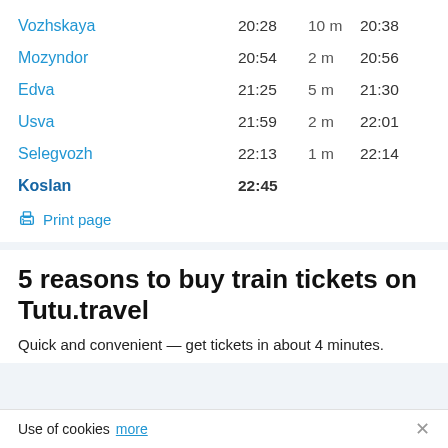| Station | Departure | Duration | Arrival |
| --- | --- | --- | --- |
| Vozhskaya | 20:28 | 10 m | 20:38 |
| Mozyndor | 20:54 | 2 m | 20:56 |
| Edva | 21:25 | 5 m | 21:30 |
| Usva | 21:59 | 2 m | 22:01 |
| Selegvozh | 22:13 | 1 m | 22:14 |
| Koslan | 22:45 |  |  |
Print page
5 reasons to buy train tickets on Tutu.travel
Quick and convenient — get tickets in about 4 minutes.
Use of cookies  more  ×